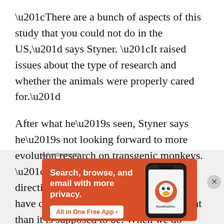“There are a bunch of aspects of this study that you could not do in the US,” says Styner. “It raised issues about the type of research and whether the animals were properly cared for.”
After what he’s seen, Styner says he’s not looking forward to more evolution research on transgenic monkeys. “I don’t think that is a good direction,” he says. “Now we have created this animal which is different than it is supposed to be. When we do
Advertisements
[Figure (screenshot): DuckDuckGo advertisement banner on orange background with text 'Search, browse, and email with more privacy. All in One Free App' and a smartphone image showing the DuckDuckGo app]